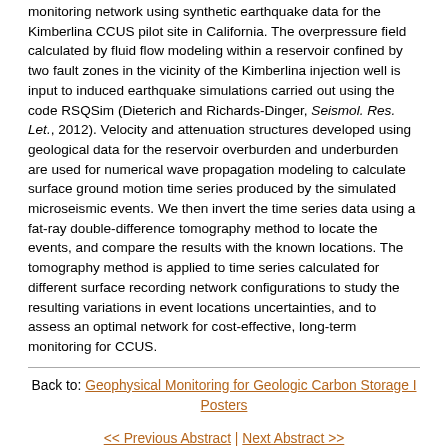monitoring network using synthetic earthquake data for the Kimberlina CCUS pilot site in California. The overpressure field calculated by fluid flow modeling within a reservoir confined by two fault zones in the vicinity of the Kimberlina injection well is input to induced earthquake simulations carried out using the code RSQSim (Dieterich and Richards-Dinger, Seismol. Res. Let., 2012). Velocity and attenuation structures developed using geological data for the reservoir overburden and underburden are used for numerical wave propagation modeling to calculate surface ground motion time series produced by the simulated microseismic events. We then invert the time series data using a fat-ray double-difference tomography method to locate the events, and compare the results with the known locations. The tomography method is applied to time series calculated for different surface recording network configurations to study the resulting variations in event locations uncertainties, and to assess an optimal network for cost-effective, long-term monitoring for CCUS.
Back to: Geophysical Monitoring for Geologic Carbon Storage I Posters
<< Previous Abstract | Next Abstract >>